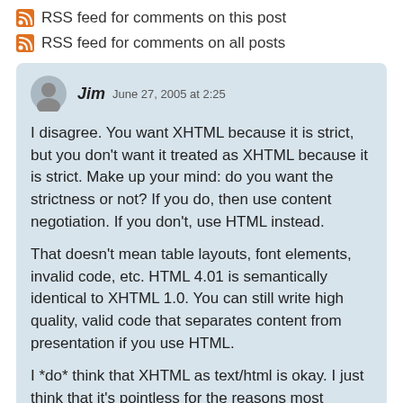RSS feed for comments on this post
RSS feed for comments on all posts
Jim  June 27, 2005 at 2:25

I disagree. You want XHTML because it is strict, but you don't want it treated as XHTML because it is strict. Make up your mind: do you want the strictness or not? If you do, then use content negotiation. If you don't, use HTML instead.

That doesn't mean table layouts, font elements, invalid code, etc. HTML 4.01 is semantically identical to XHTML 1.0. You can still write high quality, valid code that separates content from presentation if you use HTML.

I *do* think that XHTML as text/html is okay. I just think that it's pointless for the reasons most people use it,